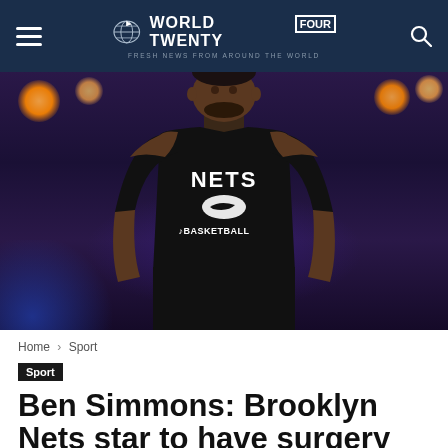WORLD TWENTY FOUR — Fresh News from Around the World
[Figure (photo): Basketball player wearing a Brooklyn Nets black sleeveless practice shirt with Nike logo and NBA Basketball text, standing in an arena with orange lights in background]
Home › Sport
Sport
Ben Simmons: Brooklyn Nets star to have surgery on herniated disk in back